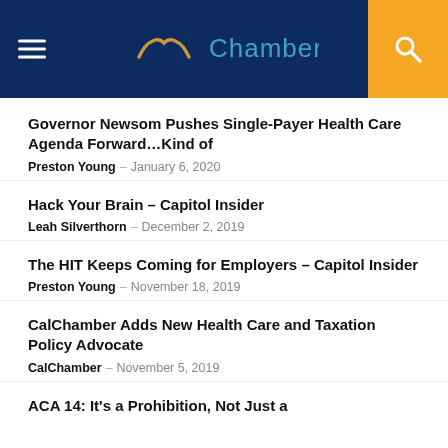Chamber.
Governor Newsom Pushes Single-Payer Health Care Agenda Forward…Kind of
Preston Young – January 6, 2020
Hack Your Brain – Capitol Insider
Leah Silverthorn – December 2, 2019
The HIT Keeps Coming for Employers – Capitol Insider
Preston Young – November 18, 2019
CalChamber Adds New Health Care and Taxation Policy Advocate
CalChamber – November 5, 2019
ACA 14: It's a Prohibition, Not Just a